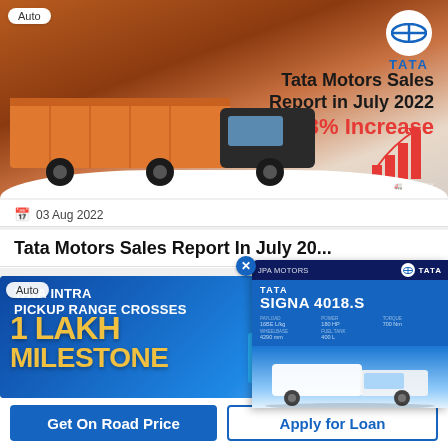[Figure (photo): Tata Motors truck with sales report banner showing 43% increase in July 2022, with bar chart graphic and Tata logo]
03 Aug 2022
Tata Motors Sales Report In July 20...
[Figure (photo): Tata Intra Pickup Range Crosses 1 Lakh Milestone promotional image with blue pickup truck]
[Figure (photo): Popup card showing Tata Signa 4018.S truck model with specifications]
Get On Road Price
Apply for Loan